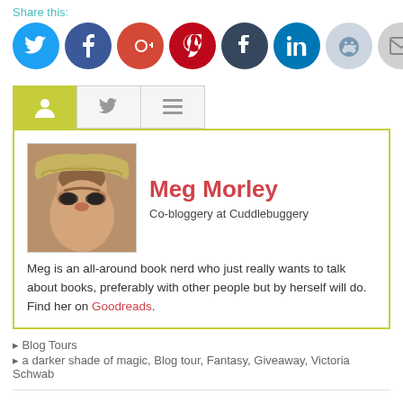Share this:
[Figure (infographic): Row of social media sharing icon buttons: Twitter (blue), Facebook (dark blue), Google+ (red), Pinterest (dark red), Tumblr (dark navy), LinkedIn (blue), Reddit (light blue), Email (gray)]
[Figure (infographic): Three tabs: person icon tab (active/yellow-green), twitter bird icon tab, and lines/text icon tab]
[Figure (photo): Author profile card for Meg Morley with photo, name in red, role 'Co-bloggery at Cuddlebuggery', bio text and Goodreads link]
Blog Tours
a darker shade of magic, Blog tour, Fantasy, Giveaway, Victoria Schwab
76 Responses to “Blog Tour: A Darker Shade